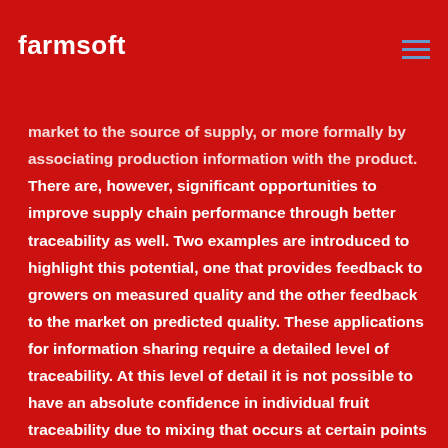farmsoft
market to the source of supply, or more formally by associating production information with the product. There are, however, significant opportunities to improve supply chain performance through better traceability as well. Two examples are introduced to highlight this potential, one that provides feedback to growers on measured quality and the other feedback to the market on predicted quality. These applications for information sharing require a detailed level of traceability. At this level of detail it is not possible to have an absolute confidence in individual fruit traceability due to mixing that occurs at certain points in the supply chain. The level of traceability is, however, adequate to facilitate improved information systems for enhanced supply chain performance.